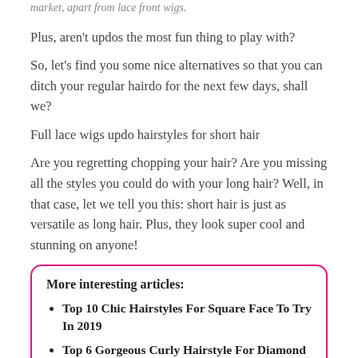market, apart from lace front wigs.
Plus, aren't updos the most fun thing to play with?
So, let's find you some nice alternatives so that you can ditch your regular hairdo for the next few days, shall we?
Full lace wigs updo hairstyles for short hair
Are you regretting chopping your hair? Are you missing all the styles you could do with your long hair? Well, in that case, let we tell you this: short hair is just as versatile as long hair. Plus, they look super cool and stunning on anyone!
More interesting articles:
Top 10 Chic Hairstyles For Square Face To Try In 2019
Top 6 Gorgeous Curly Hairstyle For Diamond Face 2019